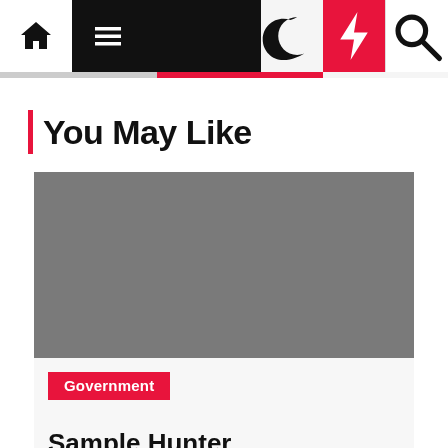Navigation bar with home, menu, moon, bolt, and search icons
You May Like
[Figure (photo): Gray placeholder image for article thumbnail]
Government
Sample Hunter